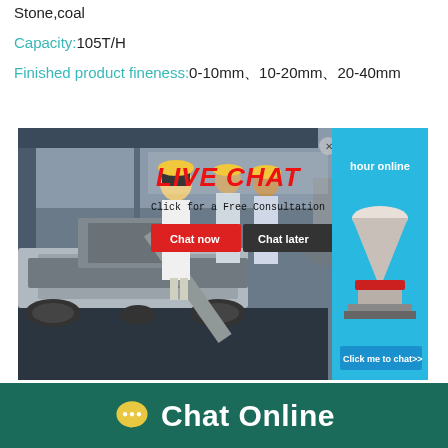Stone,coal
Capacity:105T/H
Finished product fineness:0-10mm、10-20mm、20-40mm
[Figure (photo): Live chat popup overlay on industrial stone crushing machine webpage. Shows workers in yellow hard hats, a mobile crushing plant, a cone crusher image on the right blue panel, and buttons 'Chat now' and 'Chat later'. Text reads 'LIVE CHAT', 'Click for a Free Consultation', 'hour online', 'Click me to chat>>']
Chat Online